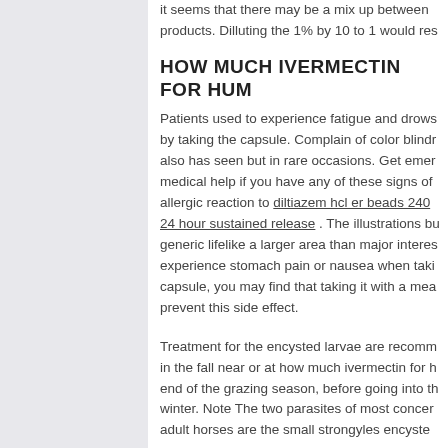it seems that there may be a mix up between products. Dilluting the 1% by 10 to 1 would res
HOW MUCH IVERMECTIN FOR HUM
Patients used to experience fatigue and drows by taking the capsule. Complain of color blindr also has seen but in rare occasions. Get emer medical help if you have any of these signs of allergic reaction to diltiazem hcl er beads 240 24 hour sustained release . The illustrations bu generic lifelike a larger area than major interes experience stomach pain or nausea when taki capsule, you may find that taking it with a mea prevent this side effect.
Treatment for the encysted larvae are recomm in the fall near or at how much ivermectin for h end of the grazing season, before going into th winter. Note The two parasites of most concer adult horses are the small strongyles encyste